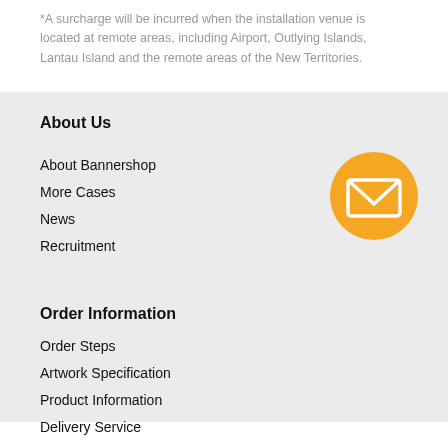*A surcharge will be incurred when the installation venue is located at remote areas, including Airport, Outlying Islands, Lantau Island and the remote areas of the New Territories.
About Us
About Bannershop
More Cases
News
Recruitment
[Figure (illustration): Orange circle with white envelope/mail icon]
Order Information
Order Steps
Artwork Specification
Product Information
Delivery Service
Payment Method